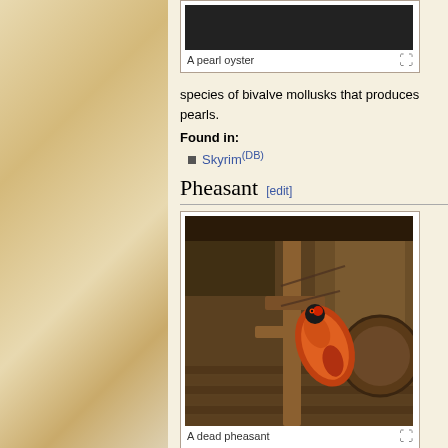[Figure (photo): A pearl oyster - dark rocky texture image]
A pearl oyster
species of bivalve mollusks that produces pearls.
Found in:
Skyrim(DB)
Pheasant [edit]
[Figure (photo): A dead pheasant lying near wooden cart with barrels]
A dead pheasant
Pheasants are wildfowl often hunted for their